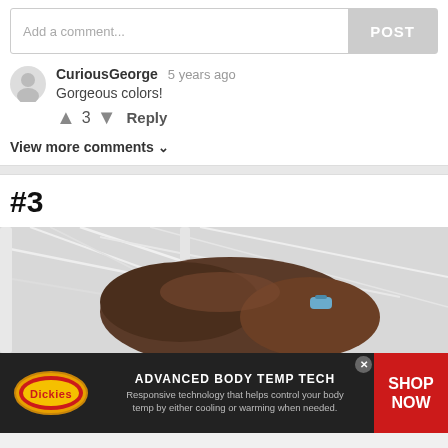Add a comment...
CuriousGeorge  5 years ago
Gorgeous colors!
↑ 3 ↓  Reply
View more comments ∨
#3
[Figure (photo): Close-up of a person's head with brown hair tied up with a blue hair clip, surrounded by abstract white wire structures in background]
[Figure (infographic): Dickies advertisement banner: ADVANCED BODY TEMP TECH - Responsive technology that helps control your body temp by either cooling or warming when needed. SHOP NOW button on red background.]